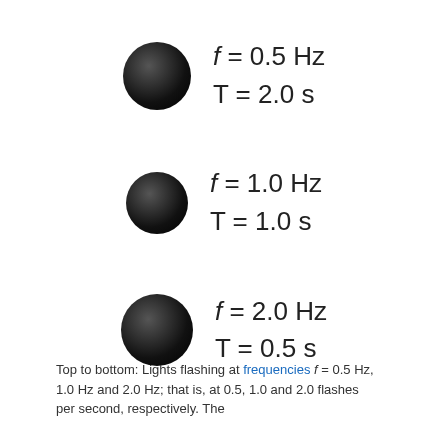[Figure (illustration): Three black circles with frequency and period labels. Top: f = 0.5 Hz, T = 2.0 s. Middle: f = 1.0 Hz, T = 1.0 s. Bottom: f = 2.0 Hz, T = 0.5 s.]
Top to bottom: Lights flashing at frequencies f = 0.5 Hz, 1.0 Hz and 2.0 Hz; that is, at 0.5, 1.0 and 2.0 flashes per second, respectively. The